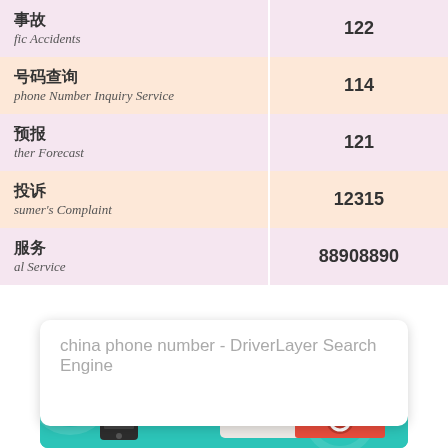| Service | Number |
| --- | --- |
| 事故 / fic Accidents | 122 |
| 号码查询 / phone Number Inquiry Service | 114 |
| 预报 / ther Forecast | 121 |
| 投诉 / sumer's Complaint | 12315 |
| 服务 / al Service | 88908890 |
china phone number - DriverLayer Search Engine
[Figure (illustration): Teal background card with browser window UI showing red/yellow/green dots, a red panel, circle icon, and a phone device illustration]